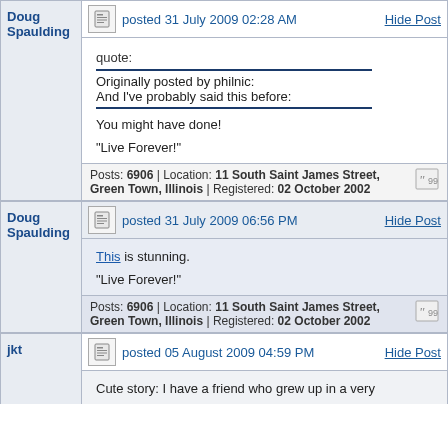Doug Spaulding
posted 31 July 2009 02:28 AM
Hide Post
quote:
Originally posted by philnic:
And I've probably said this before:
You might have done!
"Live Forever!"
Posts: 6906 | Location: 11 South Saint James Street, Green Town, Illinois | Registered: 02 October 2002
Doug Spaulding
posted 31 July 2009 06:56 PM
Hide Post
This is stunning.
"Live Forever!"
Posts: 6906 | Location: 11 South Saint James Street, Green Town, Illinois | Registered: 02 October 2002
jkt
posted 05 August 2009 04:59 PM
Hide Post
Cute story: I have a friend who grew up in a very